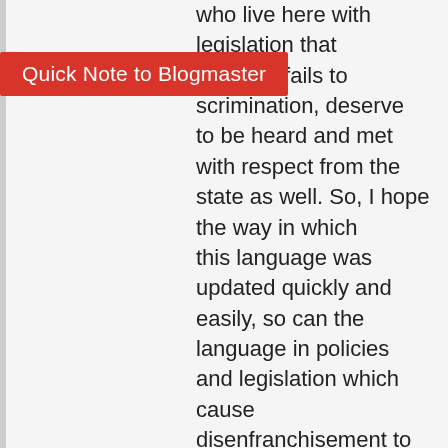who live here with legislation that [...]ities and fails to [...]scrimination, deserve to be heard and met with respect from the state as well. So, I hope the way in which this language was updated quickly and easily, so can the language in policies and legislation which cause disenfranchisement to LGBTQ people who have to navigate Barbados every day."
Heated Twitter debate
After the application went live on Monday, a heated debate on Twitter was sparked by American writer and comedian Crissle West, who is also the cohost of a popular podcast and television show The Read. West had previously highlighted her interest in taking up Barbados' work abroad offer to get away from the former "COVID-